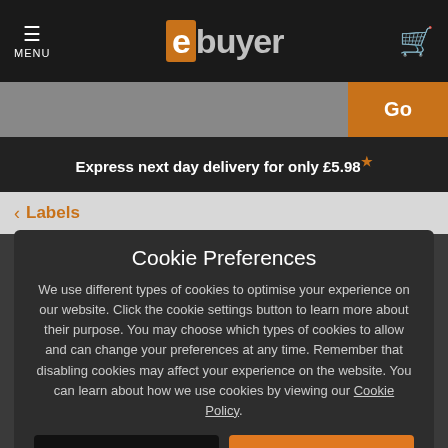ebuyer — MENU | Go | Express next day delivery for only £5.98*
< Labels
Cookie Preferences
We use different types of cookies to optimise your experience on our website. Click the cookie settings button to learn more about their purpose. You may choose which types of cookies to allow and can change your preferences at any time. Remember that disabling cookies may affect your experience on the website. You can learn about how we use cookies by viewing our Cookie Policy.
Amend Your Preference | ✓ Accept All Cookies